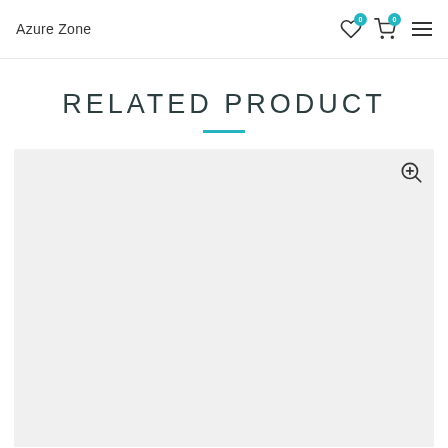Azure Zone
RELATED PRODUCT
[Figure (other): Product image placeholder area with a zoom/magnify icon in the top-right corner. Background is light gray.]